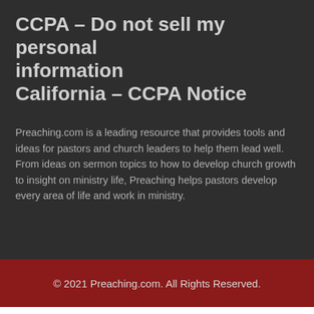CCPA – Do not sell my personal information
California – CCPA Notice
Preaching.com is a leading resource that provides tools and ideas for pastors and church leaders to help them lead well. From ideas on sermon topics to how to develop church growth to insight on ministry life, Preaching helps pastors develop every area of life and work in ministry.
© 2021 Preaching.com. All Rights Reserved.